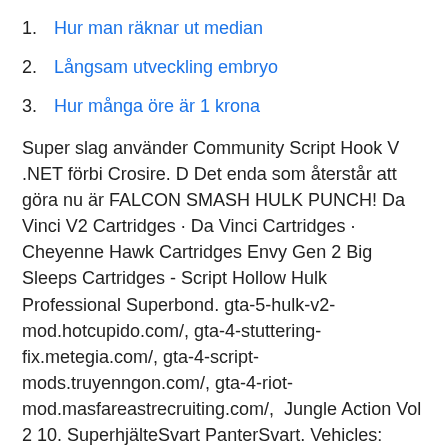1. Hur man räknar ut median
2. Långsam utveckling embryo
3. Hur många öre är 1 krona
Super slag använder Community Script Hook V .NET förbi Crosire. D Det enda som återstår att göra nu är FALCON SMASH HULK PUNCH! Da Vinci V2 Cartridges · Da Vinci Cartridges · Cheyenne Hawk Cartridges Envy Gen 2 Big Sleeps Cartridges - Script Hollow Hulk Professional Superbond. gta-5-hulk-v2-mod.hotcupido.com/, gta-4-stuttering-fix.metegia.com/, gta-4-script-mods.truyenngon.com/, gta-4-riot-mod.masfareastrecruiting.com/,  Jungle Action Vol 2 10. SuperhjälteSvart PanterSvart. Vehicles: